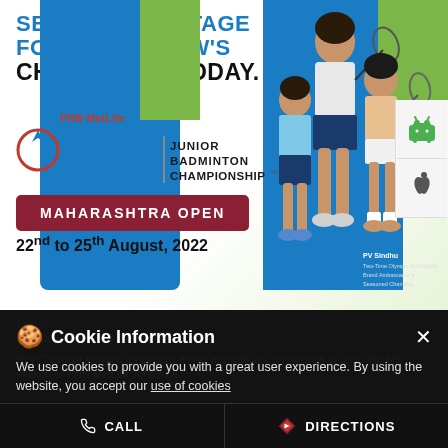SETTING THE STAGE FOR TOMORROW'S CHAMPIONS, TODAY.
[Figure (logo): PNB MetLife JBC Junior Badminton Championship logo with circular arc graphic]
MAHARASHTRA OPEN
22nd to 25th August, 2022
[Figure (photo): Three badminton players including PV Sindhu holding rackets against blue and green background with Android and Apple app store icons]
PV Sindhu
Two-Time Olympic Gold Medal
Brand Ambassador &
Seasoned Champion
Cookie Information
We use cookies to provide you with a great user experience. By using the website, you accept our use of cookies
Girls / Boys Singles Under 9 | 11 | 13 | 15 & 17 Years
Hey Champs! Are you as excited as we are with just a few days to go to the 8th season of PNB MetLife Junior Ba...
CALL
DIRECTIONS